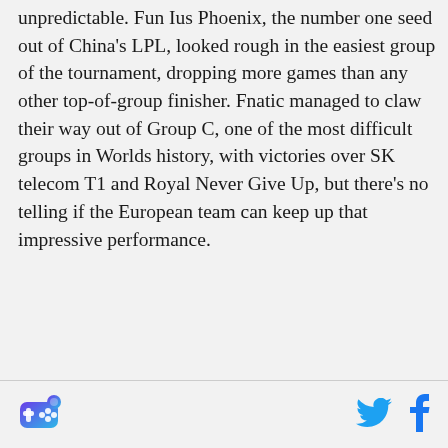unpredictable. Fun Ius Phoenix, the number one seed out of China's LPL, looked rough in the easiest group of the tournament, dropping more games than any other top-of-group finisher. Fnatic managed to claw their way out of Group C, one of the most difficult groups in Worlds history, with victories over SK telecom T1 and Royal Never Give Up, but there's no telling if the European team can keep up that impressive performance.
[Figure (logo): Purple/blue stylized game controller or similar icon logo at bottom left]
[Figure (logo): Twitter bird icon in cyan/blue at bottom right]
[Figure (logo): Facebook 'f' icon in dark blue at bottom right]